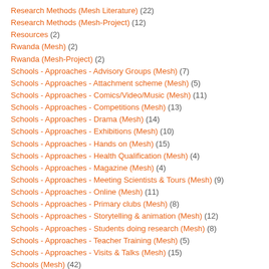Research Methods (Mesh Literature) (22)
Research Methods (Mesh-Project) (12)
Resources (2)
Rwanda (Mesh) (2)
Rwanda (Mesh-Project) (2)
Schools - Approaches - Advisory Groups (Mesh) (7)
Schools - Approaches - Attachment scheme (Mesh) (5)
Schools - Approaches - Comics/Video/Music (Mesh) (11)
Schools - Approaches - Competitions (Mesh) (13)
Schools - Approaches - Drama (Mesh) (14)
Schools - Approaches - Exhibitions (Mesh) (10)
Schools - Approaches - Hands on (Mesh) (15)
Schools - Approaches - Health Qualification (Mesh) (4)
Schools - Approaches - Magazine (Mesh) (4)
Schools - Approaches - Meeting Scientists & Tours (Mesh) (9)
Schools - Approaches - Online (Mesh) (11)
Schools - Approaches - Primary clubs (Mesh) (8)
Schools - Approaches - Storytelling & animation (Mesh) (12)
Schools - Approaches - Students doing research (Mesh) (8)
Schools - Approaches - Teacher Training (Mesh) (5)
Schools - Approaches - Visits & Talks (Mesh) (15)
Schools (Mesh) (42)